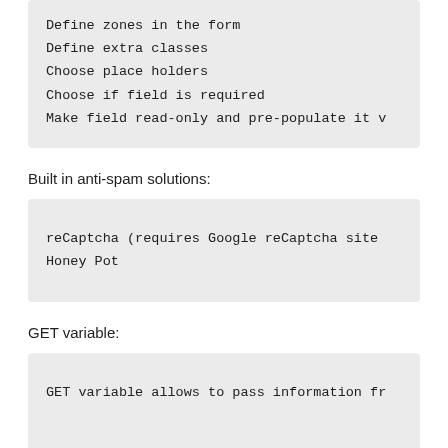Define zones in the form
Define extra classes
Choose place holders
Choose if field is required
Make field read-only and pre-populate it v
Built in anti-spam solutions:
reCaptcha (requires Google reCaptcha site
Honey Pot
GET variable:
GET variable allows to pass information fr